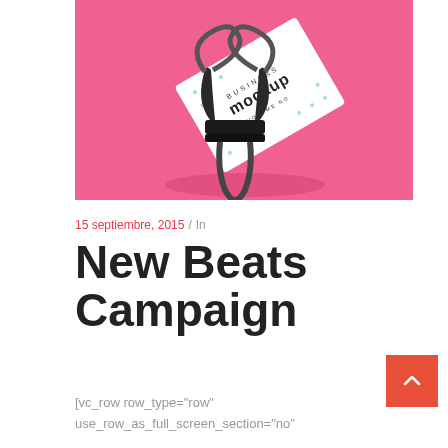[Figure (photo): Business card mockup held by a black binder clip against a hot pink background. The card shows 'MOCKUP' text with decorative typography elements.]
15 septiembre, 2015 / In
New Beats Campaign
[vc_row row_type="row" use_row_as_full_screen_section="no"